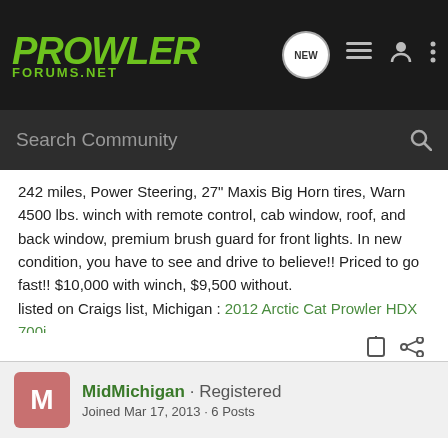PROWLER FORUMS.NET
Search Community
242 miles, Power Steering, 27" Maxis Big Horn tires, Warn 4500 lbs. winch with remote control, cab window, roof, and back window, premium brush guard for front lights. In new condition, you have to see and drive to believe!! Priced to go fast!! $10,000 with winch, $9,500 without.
listed on Craigs list, Michigan : 2012 Arctic Cat Prowler HDX 700i
MidMichigan · Registered
Joined Mar 17, 2013 · 6 Posts
Discussion Starter · #2 · Mar 21, 2013
Still available, ttt